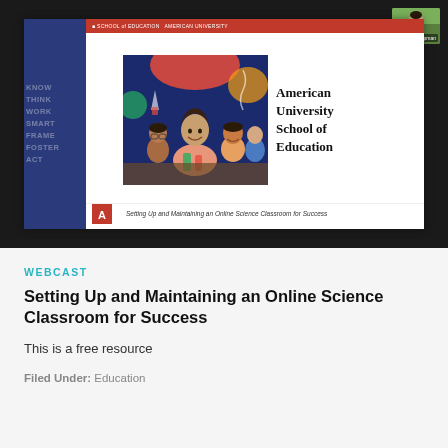[Figure (screenshot): Screenshot of a webcast slide from American University School of Education. The slide shows a title 'Setting Up and Maintaining an Online Science Classroom for Success' with a photo of a teacher and students doing a science experiment, set against a dark blue background with colorful design elements. The AU logo is visible. A video thumbnail of a woman speaker is shown in the top-right corner of the screenshot.]
WEBCAST
Setting Up and Maintaining an Online Science Classroom for Success
This is a free resource
Filed Under: Education